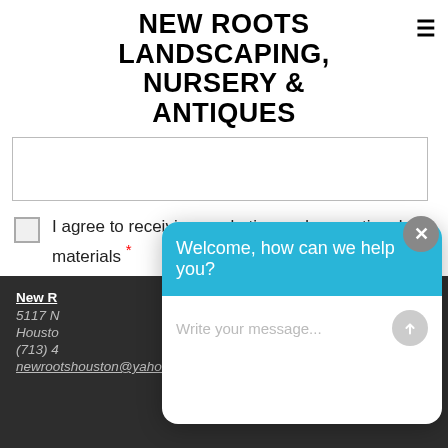New Roots Landscaping, Nursery & Antiques
[Figure (screenshot): Text input box (empty) for newsletter form]
I agree to receiving marketing and promotional materials *
SUBSCRIBE TO NEWSLETTER
New Roots Houston
5117 N...
Houston...
(713) 4...
newrootshouston@yahoo.com
[Figure (screenshot): Chat widget overlay with header 'Welcome, how can we help you?' and message input 'Write your message...' with a send button. A grey close (X) button appears at top right of widget.]